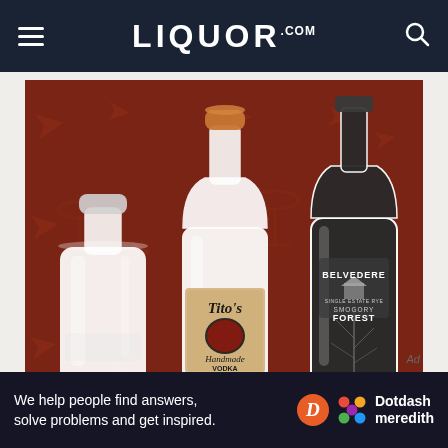LIQUOR.COM
[Figure (photo): Three vodka bottles against a dark red background with cocktail silhouette patterns. Left: a short clear glass bottle. Center: Tito's Handmade Vodka bottle with cork top and tan label. Right: Belvedere Single Estate Rye Smogory Forest bottle in dark gray/black with tree branch design.]
We help people find answers, solve problems and get inspired.
[Figure (logo): Dotdash Meredith logo — orange D circle and colorful dots pattern icon with white text 'Dotdash meredith']